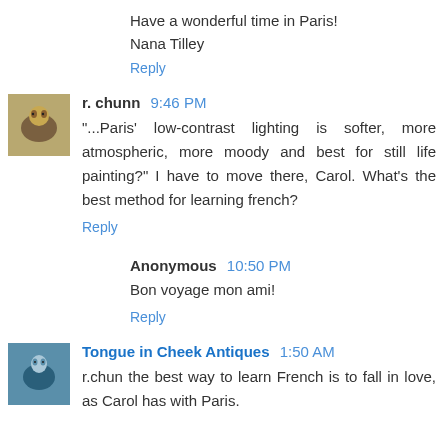Have a wonderful time in Paris!
Nana Tilley
Reply
r. chunn  9:46 PM
"...Paris' low-contrast lighting is softer, more atmospheric, more moody and best for still life painting?" I have to move there, Carol. What's the best method for learning french?
Reply
Anonymous  10:50 PM
Bon voyage mon ami!
Reply
Tongue in Cheek Antiques  1:50 AM
r.chun the best way to learn French is to fall in love, as Carol has with Paris.